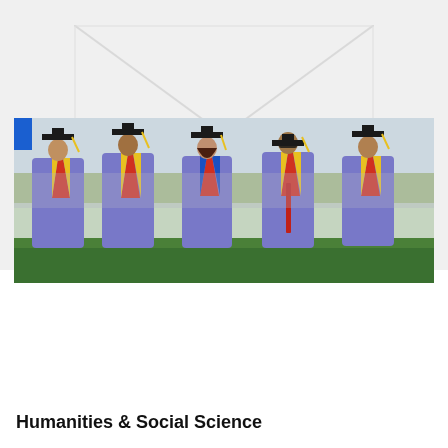[Figure (photo): Watermark or placeholder area with diagonal cross/X pattern in light gray on white background, occupying the upper portion of the page]
[Figure (photo): Graduation photo showing five students wearing purple graduation gowns with red and yellow chevron collar trim and black mortarboard caps. One female student in the center has a blue and red collar. The group stands on green grass with a blurred outdoor background.]
Humanities & Social Science